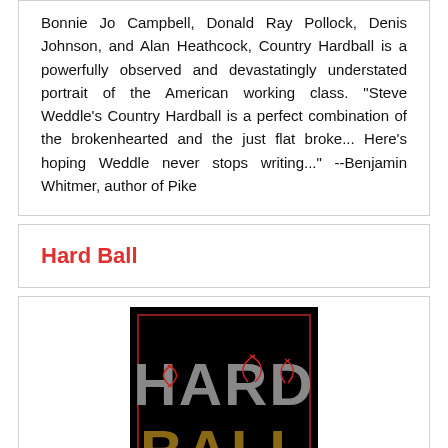Bonnie Jo Campbell, Donald Ray Pollock, Denis Johnson, and Alan Heathcock, Country Hardball is a powerfully observed and devastatingly understated portrait of the American working class. "Steve Weddle's Country Hardball is a perfect combination of the brokenhearted and the just flat broke... Here's hoping Weddle never stops writing..." --Benjamin Whitmer, author of Pike
Hard Ball
[Figure (illustration): Book cover for 'Hard Ball' featuring large block text 'HARD BALL' on a black background with baseball stitching design through the letters. 'HARD' appears in grey/silver tones and 'BALL' appears in brown/gold tones.]